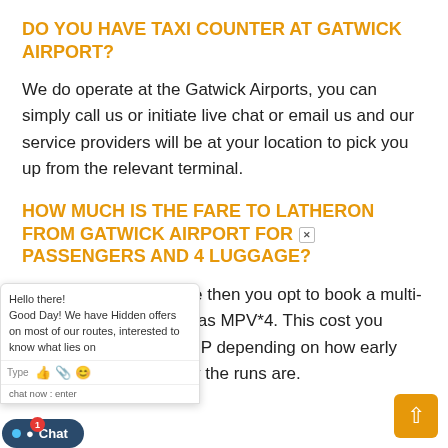DO YOU HAVE TAXI COUNTER AT GATWICK AIRPORT?
We do operate at the Gatwick Airports, you can simply call us or initiate live chat or email us and our service providers will be at your location to pick you up from the relevant terminal.
HOW MUCH IS THE FARE TO LATHERON FROM GATWICK AIRPORT FOR 4 PASSENGERS AND 4 LUGGAGE?
...are people with luggage then you opt to book a multi-purpose can type such as MPV*4. This cost you between 110 to 130 GBP depending on how early you book and how busy the runs are.
[Figure (screenshot): Live chat widget overlay showing 'Hello there! Good Day! We have Hidden offers on most of our routes, interested to know what lies on...' message with input bar, and a Chat button with notification badge of 1.]
[Figure (other): Orange scroll-to-top arrow button in bottom right corner.]